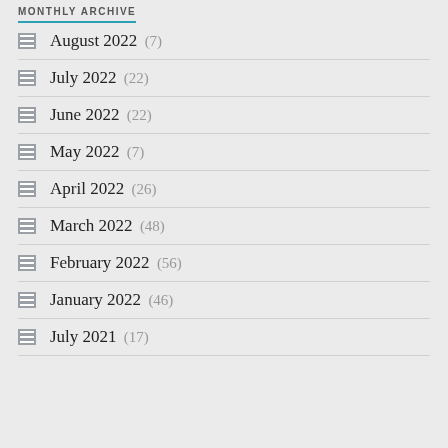MONTHLY ARCHIVE
August 2022 (7)
July 2022 (22)
June 2022 (22)
May 2022 (7)
April 2022 (26)
March 2022 (48)
February 2022 (56)
January 2022 (46)
July 2021 (17)